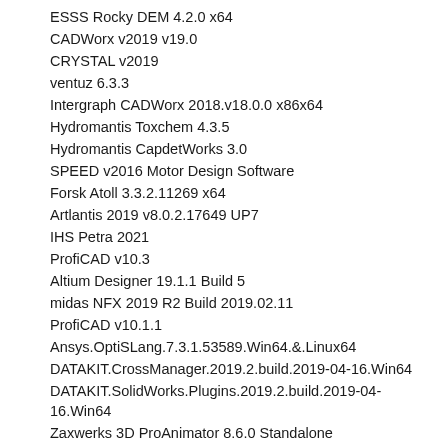ESSS Rocky DEM 4.2.0 x64
CADWorx v2019 v19.0
CRYSTAL v2019
ventuz 6.3.3
Intergraph CADWorx 2018.v18.0.0 x86x64
Hydromantis Toxchem 4.3.5
Hydromantis CapdetWorks 3.0
SPEED v2016 Motor Design Software
Forsk Atoll 3.3.2.11269 x64
Artlantis 2019 v8.0.2.17649 UP7
IHS Petra 2021
ProfiCAD v10.3
Altium Designer 19.1.1 Build 5
midas NFX 2019 R2 Build 2019.02.11
ProfiCAD v10.1.1
Ansys.OptiSLang.7.3.1.53589.Win64.&.Linux64
DATAKIT.CrossManager.2019.2.build.2019-04-16.Win64
DATAKIT.SolidWorks.Plugins.2019.2.build.2019-04-16.Win64
Zaxwerks 3D ProAnimator 8.6.0 Standalone
FunctionBay.Ansys.19.2.MBD.Win64
MAGNA.KULI.v13.0.Win64
NUMECA.FineMarine.8.1.Win64
Siemens.Solid.Edge.Electrical.2019.1.SP1904.53.Update.Only